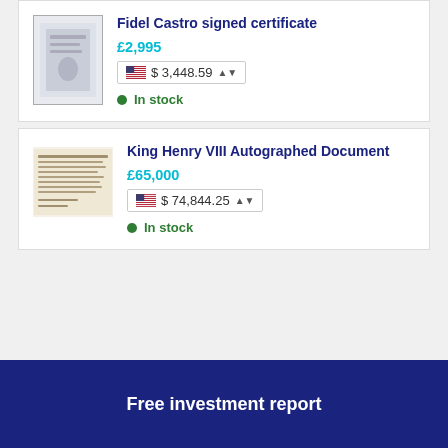Fidel Castro signed certificate
£2,995
$ 3,448.59
In stock
King Henry VIII Autographed Document
£65,000
$ 74,844.25
In stock
Free investment report